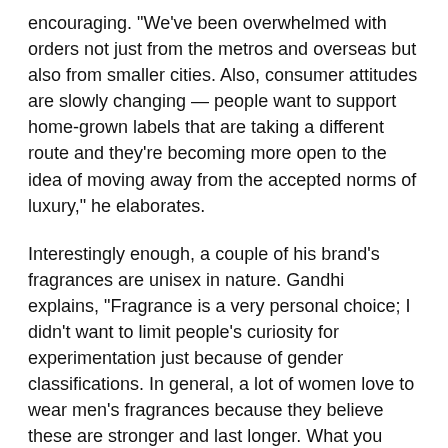encouraging. "We've been overwhelmed with orders not just from the metros and overseas but also from smaller cities. Also, consumer attitudes are slowly changing — people want to support home-grown labels that are taking a different route and they're becoming more open to the idea of moving away from the accepted norms of luxury," he elaborates.
Interestingly enough, a couple of his brand's fragrances are unisex in nature. Gandhi explains, "Fragrance is a very personal choice; I didn't want to limit people's curiosity for experimentation just because of gender classifications. In general, a lot of women love to wear men's fragrances because they believe these are stronger and last longer. What you should really test for is how the perfume wears on your skin and whether you love wearing a particular scent."
Mocemsa's approach to its 12 fragrances, too, followed strict market variables. "Our perfumes were designed keeping three